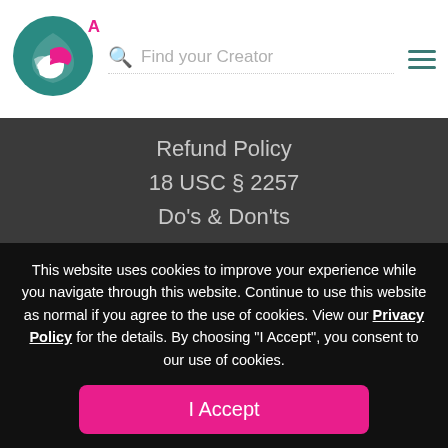Find your Creator
Refund Policy
18 USC § 2257
Do's & Don'ts
FAQ
All Creators
What's New
Brand
About
This website uses cookies to improve your experience while you navigate through this website. Continue to use this website as normal if you agree to the use of cookies. View our Privacy Policy for the details. By choosing "I Accept", you consent to our use of cookies.
I Accept